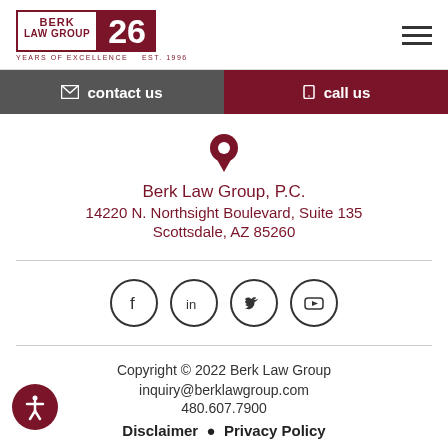[Figure (logo): Berk Law Group logo with '26 Years of Excellence Est. 1996' text and dark red branding]
contact us
call us
Berk Law Group, P.C.
14220 N. Northsight Boulevard, Suite 135
Scottsdale, AZ 85260
[Figure (illustration): Social media icons in circles: Facebook, LinkedIn, Twitter, YouTube]
Copyright © 2022 Berk Law Group
inquiry@berklawgroup.com
480.607.7900
Disclaimer  •  Privacy Policy